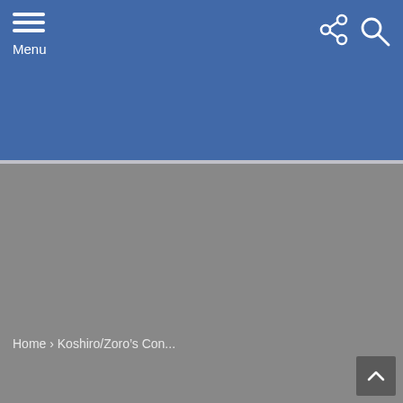[Figure (screenshot): Website header bar with blue background, hamburger menu icon and Menu text on the left, share and search icons on the right]
Home › Koshiro/Zoro's Con...
[Figure (other): Scroll to top button with upward arrow in bottom right corner]